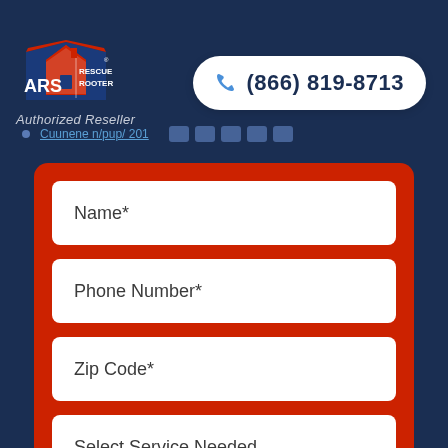[Figure (logo): ARS Rescue Rooter logo with house icon and blue/red design]
Authorized Reseller
(866) 819-8713
Name*
Phone Number*
Zip Code*
Select Service Needed
Request Service